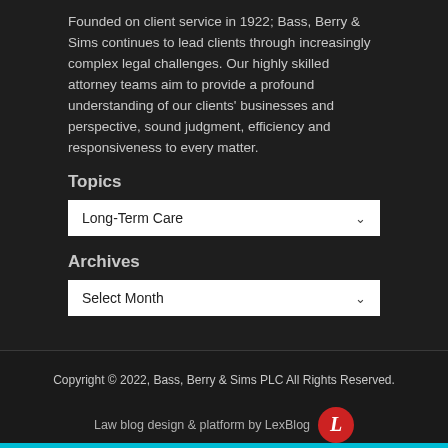Founded on client service in 1922; Bass, Berry & Sims continues to lead clients through increasingly complex legal challenges. Our highly skilled attorney teams aim to provide a profound understanding of our clients' businesses and perspective, sound judgment, efficiency and responsiveness to every matter.
Topics
Long-Term Care
Archives
Select Month
Copyright © 2022, Bass, Berry & Sims PLC All Rights Reserved.
Law blog design & platform by LexBlog